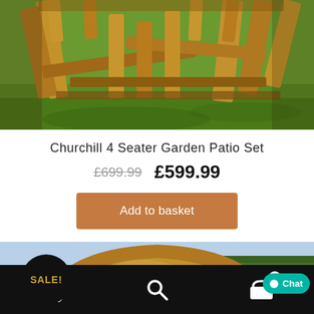[Figure (photo): Wooden garden patio furniture set with chairs and table on green grass, viewed from above at an angle showing wooden legs and frame.]
Churchill 4 Seater Garden Patio Set
£699.99  £599.99
Add to basket
[Figure (photo): Wooden pergola/arch garden structure with a SALE! badge overlay, shown on a sunny day with trees in the background.]